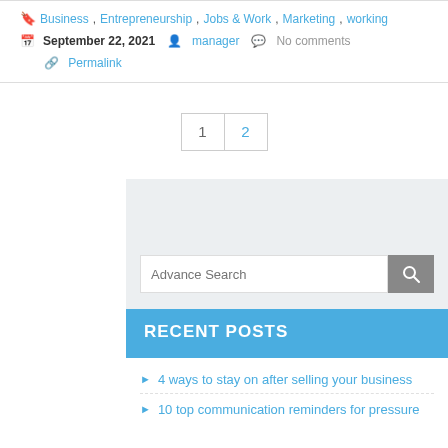Business, Entrepreneurship, Jobs & Work, Marketing, working
September 22, 2021   manager   No comments
Permalink
1  2
[Figure (screenshot): Search box with 'Advance Search' placeholder and a grey search button with magnifying glass icon]
RECENT POSTS
4 ways to stay on after selling your business
10 top communication reminders for pressure